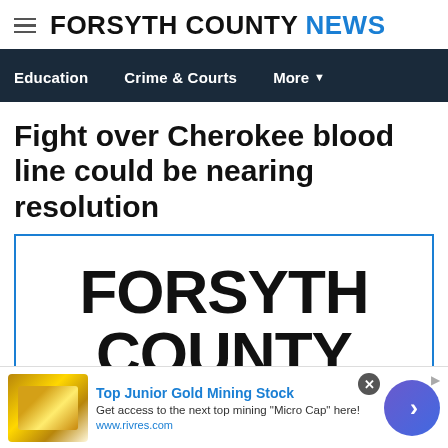FORSYTH COUNTY NEWS
Education   Crime & Courts   More
Fight over Cherokee blood line could be nearing resolution
[Figure (logo): Forsyth County logo placeholder image showing bold text FORSYTH COUNTY in large black letters on white background with blue border]
Top Junior Gold Mining Stock — Get access to the next top mining "Micro Cap" here! www.rivres.com